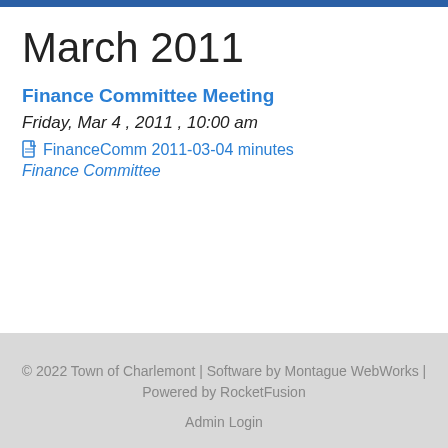March 2011
Finance Committee Meeting
Friday, Mar 4 , 2011 , 10:00 am
FinanceComm 2011-03-04 minutes
Finance Committee
© 2022 Town of Charlemont | Software by Montague WebWorks | Powered by RocketFusion
Admin Login